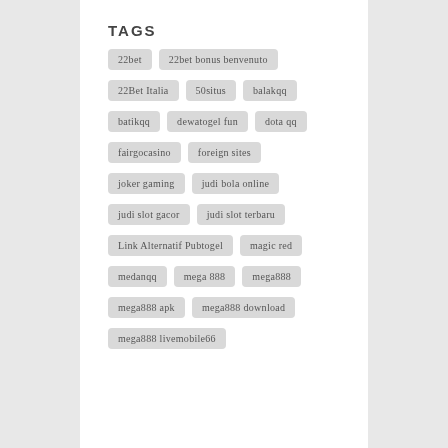TAGS
22bet
22bet bonus benvenuto
22Bet Italia
50situs
balakqq
batikqq
dewatogel fun
dota qq
fairgocasino
foreign sites
joker gaming
judi bola online
judi slot gacor
judi slot terbaru
Link Alternatif Pubtogel
magic red
medanqq
mega 888
mega888
mega888 apk
mega888 download
mega888 livemobile66